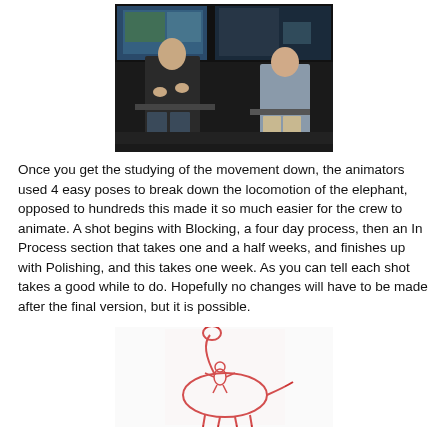[Figure (photo): Two men in a dark room with multiple monitors showing animation footage. One man gestures with his hands while the other listens.]
Once you get the studying of the movement down, the animators used 4 easy poses to break down the locomotion of the elephant,  opposed to hundreds this made it so much easier for the crew to animate. A shot begins with Blocking, a four day process, then an In Process section that takes one and a half weeks, and finishes up with Polishing, and this takes one week. As you can tell each shot takes a good while to do. Hopefully no changes will have to be made after the final version, but it is possible.
[Figure (illustration): A red line drawing on white background of a dinosaur (long neck) with a small figure riding on its back.]